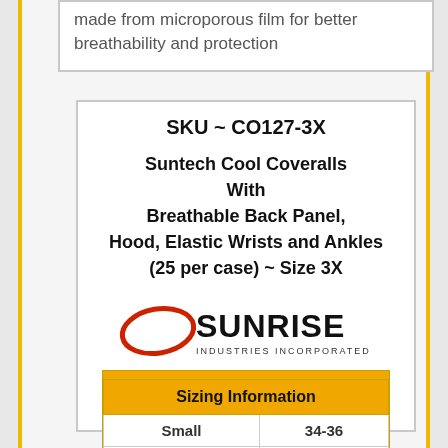made from microporous film for better breathability and protection
SKU ~ CO127-3X
Suntech Cool Coveralls With Breathable Back Panel, Hood, Elastic Wrists and Ankles (25 per case) ~ Size 3X
[Figure (logo): Sunrise Industries Incorporated logo with red ellipse and black SUNRISE text, and Suntech logo in orange and purple]
| Sizing Information |  |
| --- | --- |
| Small | 34-36 |
| Medium | 38-40 |